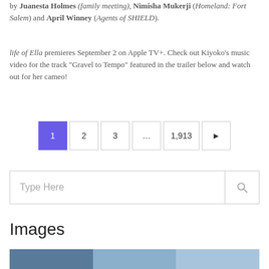by Juanesta Holmes (family meeting), Nimisha Mukerji (Homeland: Fort Salem) and April Winney (Agents of SHIELD).
life of Ella premieres September 2 on Apple TV+. Check out Kiyoko's music video for the track "Gravel to Tempo" featured in the trailer below and watch out for her cameo!
1 2 3 … 1,913 ▶ (pagination)
Type Here (search box)
Images
[Figure (photo): Partial photo strip showing a building with glass windows and blue tones at the bottom of the page.]